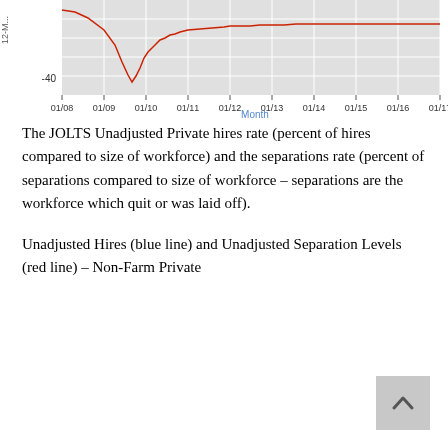[Figure (continuous-plot): Partial view of a line chart showing JOLTS Unadjusted Private hires and separations rates over time from 01/08 to 01/18. The x-axis shows months (01/08 through 01/18), the y-axis shows values including -40. A red line shows data. The chart background is light gray with white gridlines.]
The JOLTS Unadjusted Private hires rate (percent of hires compared to size of workforce) and the separations rate (percent of separations compared to size of workforce – separations are the workforce which quit or was laid off).
Unadjusted Hires (blue line) and Unadjusted Separation Levels (red line) – Non-Farm Private